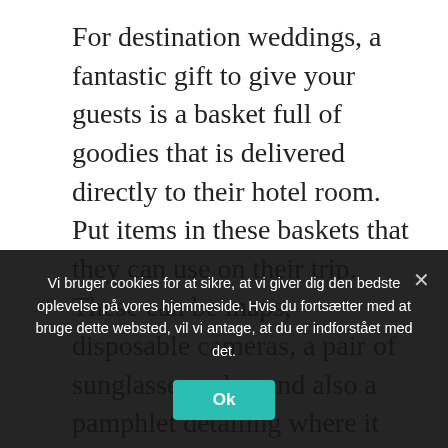For destination weddings, a fantastic gift to give your guests is a basket full of goodies that is delivered directly to their hotel room. Put items in these baskets that they can use on their trip. These can be maps, disposable cameras, a pair of sunglasses, a hat and also a pamphlet detailing where it would be fun to visit. You may want to include a food guide to some local restaurants so that they can eat.
Place your colorful wedding cake on a swatch of fabric that coordinates with the cake. The right piece of fabric can create a stunning display that makes
Vi bruger cookies for at sikre, at vi giver dig den bedste oplevelse på vores hjemmeside. Hvis du fortsætter med at bruge dette websted, vil vi antage, at du er indforstået med det.